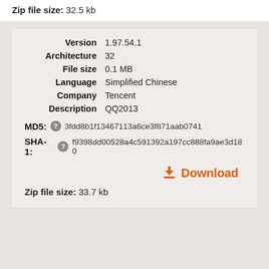Zip file size: 32.5 kb
| Field | Value |
| --- | --- |
| Version | 1.97.54.1 |
| Architecture | 32 |
| File size | 0.1 MB |
| Language | Simplified Chinese |
| Company | Tencent |
| Description | QQ2013 |
MD5: 3fdd8b1f13467113a6ce3f871aab0741
SHA-1: f9398dd00528a4c591392a197cc888fa9ae3d180
Download
Zip file size: 33.7 kb